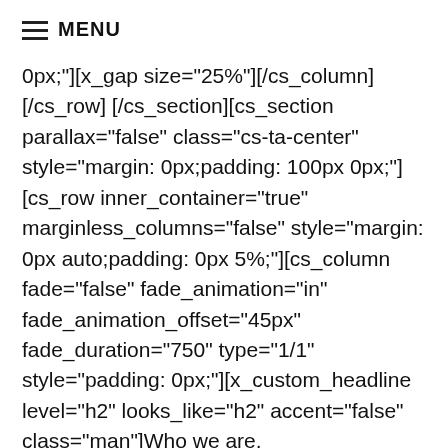MENU
0px;"][x_gap size="25%"][/cs_column][/cs_row][/cs_section][cs_section parallax="false" class="cs-ta-center" style="margin: 0px;padding: 100px 0px;"][cs_row inner_container="true" marginless_columns="false" style="margin: 0px auto;padding: 0px 5%;"][cs_column fade="false" fade_animation="in" fade_animation_offset="45px" fade_duration="750" type="1/1" style="padding: 0px;"][x_custom_headline level="h2" looks_like="h2" accent="false" class="man"]Who we are.[/x_custom_headline][x_raw_content class="mtm"]